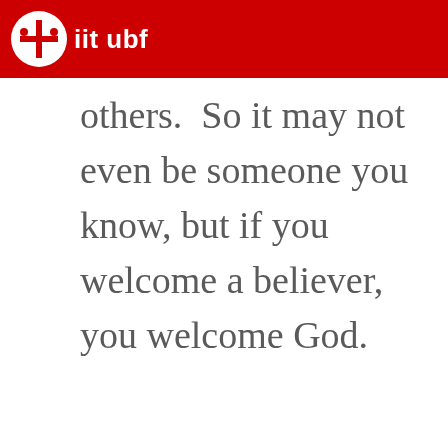iit ubf
others.  So it may not even be someone you know, but if you welcome a believer, you welcome God.